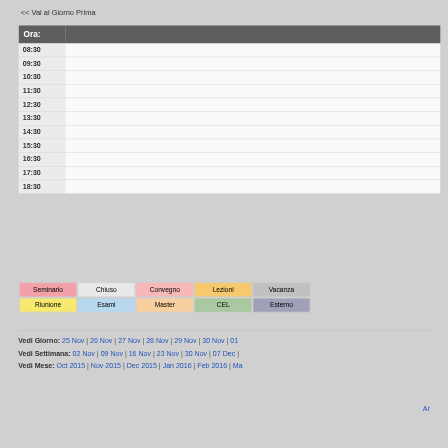<< Vai al Giorno Prima
| Ora: |  |
| --- | --- |
| 08:30 |  |
| 09:30 |  |
| 10:30 |  |
| 11:30 |  |
| 12:30 |  |
| 13:30 |  |
| 14:30 |  |
| 15:30 |  |
| 16:30 |  |
| 17:30 |  |
| 18:30 |  |
Seminario | Chiuso | Convegno | Lezioni | Vacanza | Riunione | Esami | Master | CEL | Esterno
Vedi Giorno: 25 Nov | 26 Nov | 27 Nov | 28 Nov | 29 Nov | 30 Nov | 01
Vedi Settimana: 02 Nov | 09 Nov | 16 Nov | 23 Nov | 30 Nov | 07 Dec |
Vedi Mese: Oct 2015 | Nov 2015 | Dec 2015 | Jan 2016 | Feb 2016 | Ma
Ar